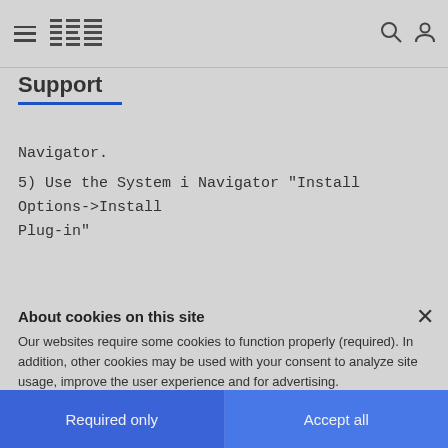IBM Support
Navigator.
5) Use the System i Navigator "Install Options->Install Plug-in"
About cookies on this site
Our websites require some cookies to function properly (required). In addition, other cookies may be used with your consent to analyze site usage, improve the user experience and for advertising.
For more information, please review your Cookie preferences options and IBM's privacy statement.
Required only
Accept all